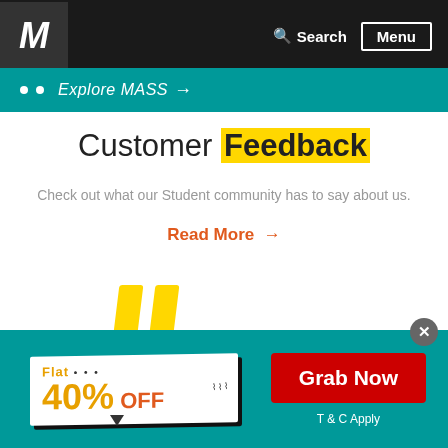Search  Menu
Explore MASS →
Customer Feedback
Check out what our Student community has to say about us.
Read More →
[Figure (illustration): Two yellow decorative vertical bars]
[Figure (infographic): Promotional banner on teal background: Flat 40% OFF with a Grab Now button and T & C Apply text]